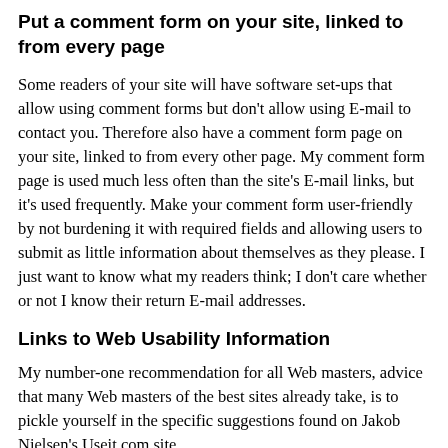Put a comment form on your site, linked to from every page
Some readers of your site will have software set-ups that allow using comment forms but don't allow using E-mail to contact you. Therefore also have a comment form page on your site, linked to from every other page. My comment form page is used much less often than the site's E-mail links, but it's used frequently. Make your comment form user-friendly by not burdening it with required fields and allowing users to submit as little information about themselves as they please. I just want to know what my readers think; I don't care whether or not I know their return E-mail addresses.
Links to Web Usability Information
My number-one recommendation for all Web masters, advice that many Web masters of the best sites already take, is to pickle yourself in the specific suggestions found on Jakob Nielsen's Useit.com site,
http://www.useit.com/
and especially the content of nearly all of his Alertbox biweekly columns on Web usability issues. Nielsen has done more research, more thoroughly and for longer, than almost anyone else about